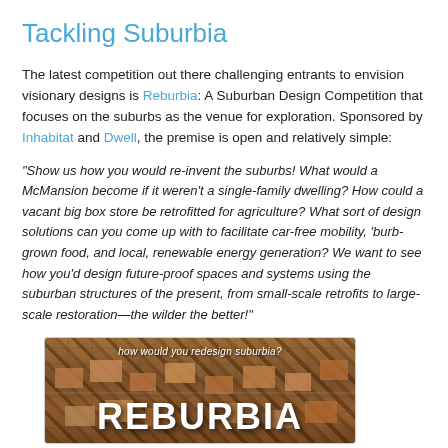Tackling Suburbia
The latest competition out there challenging entrants to envision visionary designs is Reburbia: A Suburban Design Competition that focuses on the suburbs as the venue for exploration. Sponsored by Inhabitat and Dwell, the premise is open and relatively simple:
"Show us how you would re-invent the suburbs! What would a McMansion become if it weren't a single-family dwelling? How could a vacant big box store be retrofitted for agriculture? What sort of design solutions can you come up with to facilitate car-free mobility, 'burb-grown food, and local, renewable energy generation? We want to see how you'd design future-proof spaces and systems using the suburban structures of the present, from small-scale retrofits to large-scale restoration—the wilder the better!"
[Figure (photo): Aerial view of suburban housing with text overlay reading 'how would you redesign suburbia?' and large text 'REBURBIA' at the bottom]